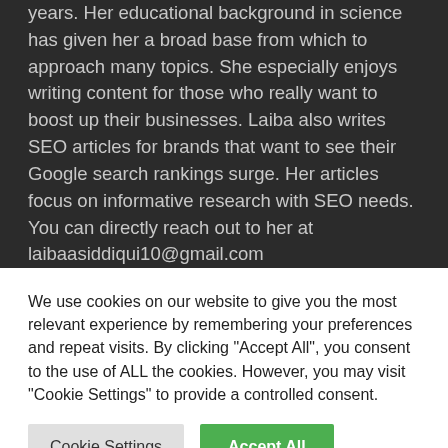years. Her educational background in science has given her a broad base from which to approach many topics. She especially enjoys writing content for those who really want to boost up their businesses. Laiba also writes SEO articles for brands that want to see their Google search rankings surge. Her articles focus on informative research with SEO needs. You can directly reach out to her at laibaasiddiqui10@gmail.com
We use cookies on our website to give you the most relevant experience by remembering your preferences and repeat visits. By clicking "Accept All", you consent to the use of ALL the cookies. However, you may visit "Cookie Settings" to provide a controlled consent.